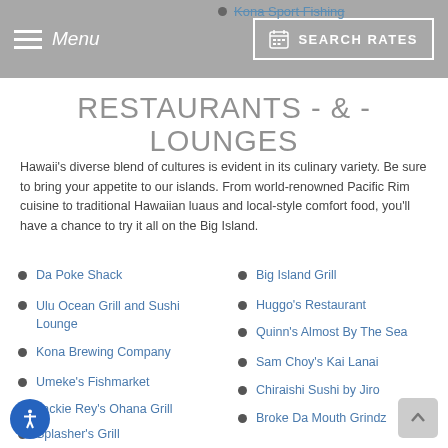Menu | SEARCH RATES
Kona Sport Fishing
RESTAURANTS - & - LOUNGES
Hawaii's diverse blend of cultures is evident in its culinary variety. Be sure to bring your appetite to our islands. From world-renowned Pacific Rim cuisine to traditional Hawaiian luaus and local-style comfort food, you'll have a chance to try it all on the Big Island.
Da Poke Shack
Ulu Ocean Grill and Sushi Lounge
Kona Brewing Company
Umeke's Fishmarket
Jackie Rey's Ohana Grill
Splasher's Grill
Big Island Grill
Huggo's Restaurant
Quinn's Almost By The Sea
Sam Choy's Kai Lanai
Chiraishi Sushi by Jiro
Broke Da Mouth Grindz